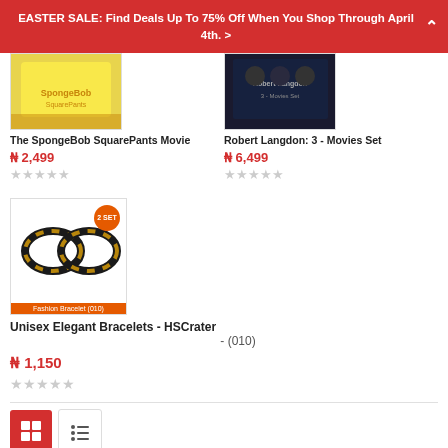EASTER SALE: Find Deals Up To 75% Off When You Shop Through April 4th. >
The SpongeBob SquarePants Movie
₦ 2,499
Robert Langdon: 3 - Movies Set
₦ 6,499
Unisex Elegant Bracelets - HSCrater - (010)
₦ 1,150